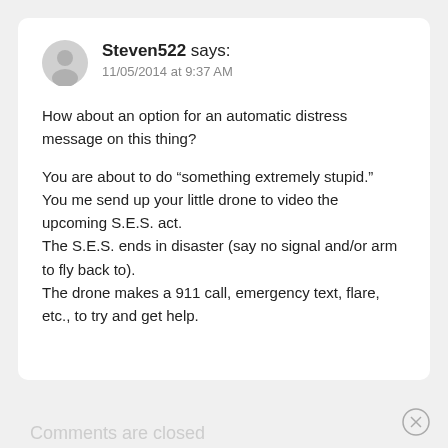Steven522 says:
11/05/2014 at 9:37 AM
How about an option for an automatic distress message on this thing?
You are about to do “something extremely stupid.”
You me send up your little drone to video the upcoming S.E.S. act.
The S.E.S. ends in disaster (say no signal and/or arm to fly back to).
The drone makes a 911 call, emergency text, flare, etc., to try and get help.
Comments are closed